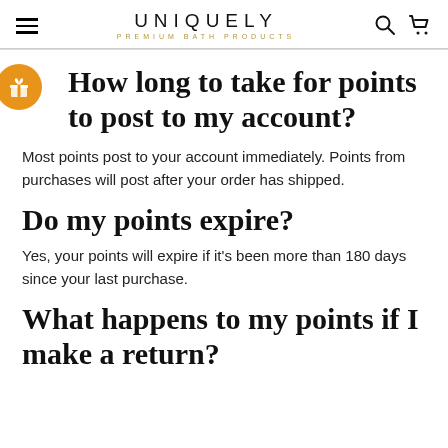UNIQUELY PREMIUM BATH PRODUCTS
How long to take for points to post to my account?
Most points post to your account immediately. Points from purchases will post after your order has shipped.
Do my points expire?
Yes, your points will expire if it's been more than 180 days since your last purchase.
What happens to my points if I make a return?